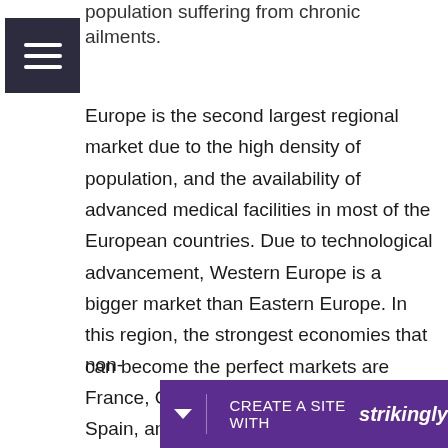population suffering from chronic ailments.
Europe is the second largest regional market due to the high density of population, and the availability of advanced medical facilities in most of the European countries. Due to technological advancement, Western Europe is a bigger market than Eastern Europe. In this region, the strongest economies that can become the perfect markets are France, Germany, Italy, the Netherlands, Spain, and the UK, followed by the remaining countries of Western Europe and Eastern Europe. Europe is also the base of many key players in the global non-
[Figure (other): Strikingly website builder promotional bar at the bottom of the page with 'CREATE A SITE WITH strikingly' text on purple background]